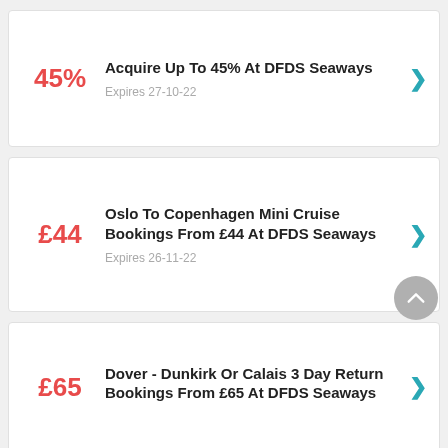45% — Acquire Up To 45% At DFDS Seaways — Expires 27-10-22
£44 — Oslo To Copenhagen Mini Cruise Bookings From £44 At DFDS Seaways — Expires 26-11-22
£65 — Dover - Dunkirk Or Calais 3 Day Return Bookings From £65 At DFDS Seaways